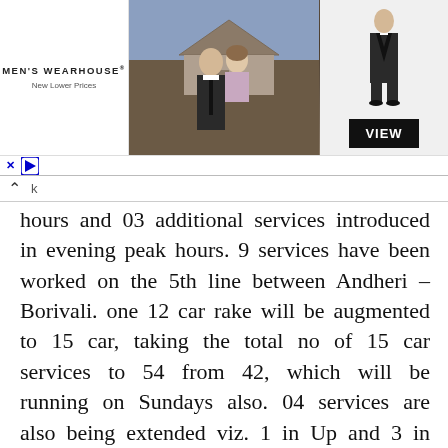[Figure (photo): Men's Wearhouse advertisement banner showing a couple in formal wear and a man in a suit, with a VIEW button]
k hours and 03 additional services introduced in evening peak hours. 9 services have been worked on the 5th line between Andheri – Borivali. one 12 car rake will be augmented to 15 car, taking the total no of 15 car services to 54 from 42, which will be running on Sundays also. 04 services are also being extended viz. 1 in Up and 3 in Down direction. Due to the above, there will be changes in the pattern of running of 21 services & 14 services will be speeded up i.e 07 UP direction & 07 DOWN direction.